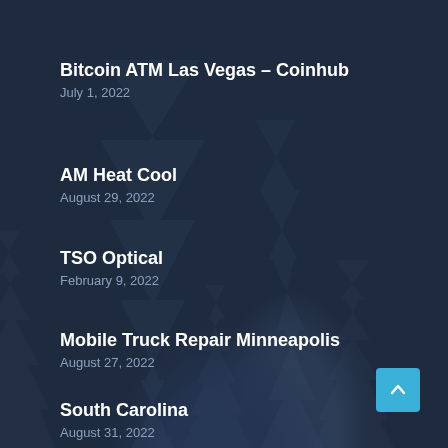Bitcoin ATM Las Vegas – Coinhub
July 1, 2022
AM Heat Cool
August 29, 2022
TSO Optical
February 9, 2022
Mobile Truck Repair Minneapolis
August 27, 2022
South Carolina
August 31, 2022